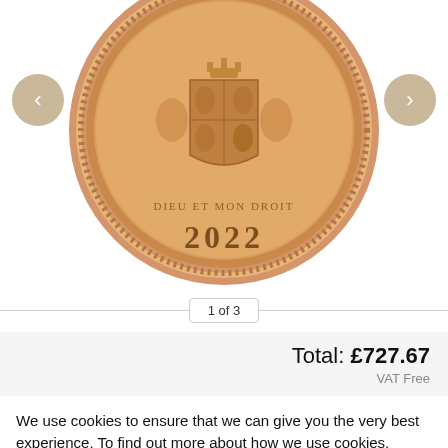[Figure (photo): A 2022 gold sovereign coin showing the royal coat of arms with 'DIEU ET MON DROIT' inscription and the year 2022, with navigation arrows on left and right]
1 of 3
Total: £727.67
VAT Free
We use cookies to ensure that we can give you the very best experience. To find out more about how we use cookies, please visit the cookie policy page.
Close